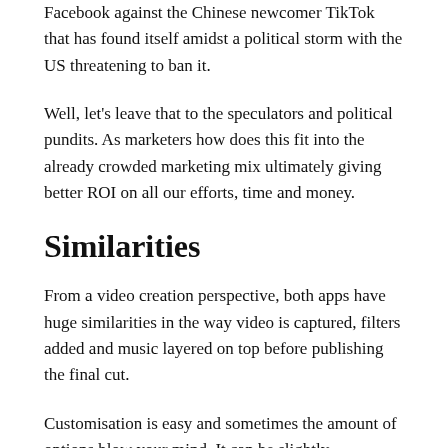Facebook against the Chinese newcomer TikTok that has found itself amidst a political storm with the US threatening to ban it.
Well, let's leave that to the speculators and political pundits. As marketers how does this fit into the already crowded marketing mix ultimately giving better ROI on all our efforts, time and money.
Similarities
From a video creation perspective, both apps have huge similarities in the way video is captured, filters added and music layered on top before publishing the final cut.
Customisation is easy and sometimes the amount of options blow your mind. It can be slightly overwhelming for a beginner but nevertheless extremely entertaining and engaging. Some TikTok fans are arguing that Reels hasn't matured yet to give it the sophistication that TikTok has. I think it's just a matter of time.